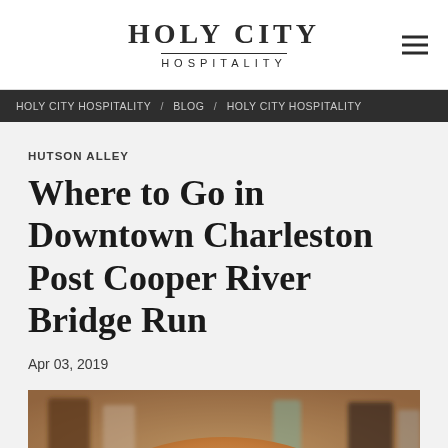HOLY CITY HOSPITALITY
HOLY CITY HOSPITALITY / BLOG / HOLY CITY HOSPITALITY
HUTSON ALLEY
Where to Go in Downtown Charleston Post Cooper River Bridge Run
Apr 03, 2019
[Figure (photo): Food and drinks photo showing a burger bun and glasses/drinks on a table]